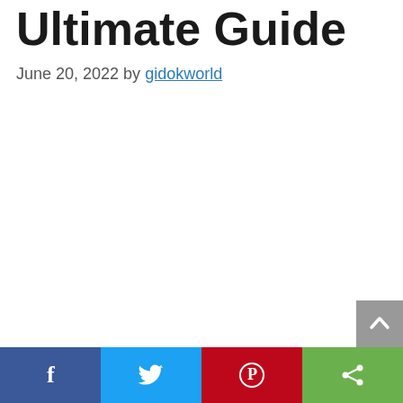Ultimate Guide
June 20, 2022 by gidokworld
Social share bar: Facebook, Twitter, Pinterest, Share